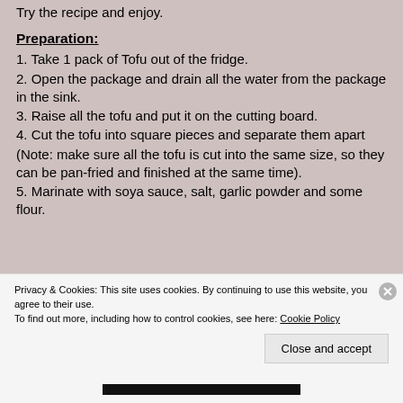Try the recipe and enjoy.
Preparation:
1. Take 1 pack of Tofu out of the fridge.
2. Open the package and drain all the water from the package in the sink.
3. Raise all the tofu and put it on the cutting board.
4. Cut the tofu into square pieces and separate them apart
(Note: make sure all the tofu is cut into the same size, so they can be pan-fried and finished at the same time).
5. Marinate with soya sauce, salt, garlic powder and some flour.
Privacy & Cookies: This site uses cookies. By continuing to use this website, you agree to their use.
To find out more, including how to control cookies, see here: Cookie Policy
Close and accept